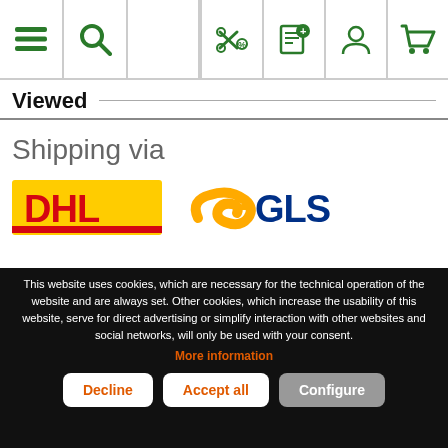[Figure (screenshot): Top navigation bar with hamburger menu, search icon, coupon/scissors icon, notepad icon, user icon, and cart icon — all in green on white background]
Viewed
Shipping via
[Figure (logo): DHL logo — red text on yellow background rectangle]
[Figure (logo): GLS logo — yellow swoosh arrow with dark blue GLS text]
This website uses cookies, which are necessary for the technical operation of the website and are always set. Other cookies, which increase the usability of this website, serve for direct advertising or simplify interaction with other websites and social networks, will only be used with your consent.
More information
Decline
Accept all
Configure